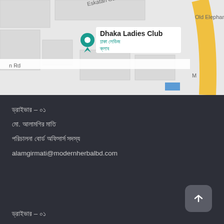[Figure (map): Google Maps screenshot showing Dhaka Ladies Club location with pin marker, roads including Eskatan Garden Road and Old Elephant Road, and a yellow curved road on the right side.]
ড্রাইভার – ০১
মো. আলামগির মাতি
পরিচালনা বোর্ড অফিসার্স সদস্য
alamgirmati@modernherbalbd.com
ড্রাইভার – ০১